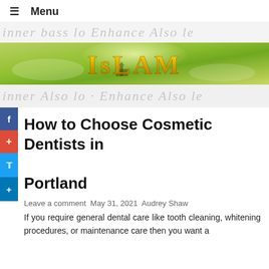≡ Menu
[Figure (illustration): Islam website banner with golden 3D 'ISLAM' text on a green gradient background with mosque silhouette and light rays]
How to Choose Cosmetic Dentists in Portland
Leave a comment May 31, 2021 Audrey Shaw
If you require general dental care like tooth cleaning, whitening procedures, or maintenance care then you want a